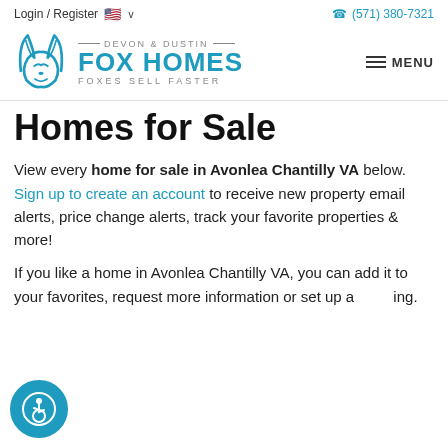Login / Register  🇺🇸 ∨    ☎ (571) 380-7321
[Figure (logo): Devon & Dustin Fox Homes logo with teal fox icon and text 'FOX HOMES FOXES SELL FASTER']
Homes for Sale
View every home for sale in Avonlea Chantilly VA below. Sign up to create an account to receive new property email alerts, price change alerts, track your favorite properties & more!
If you like a home in Avonlea Chantilly VA, you can add it to your favorites, request more information or set up a [show]ing.